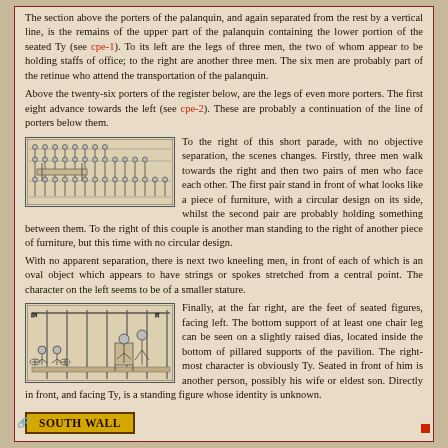The section above the porters of the palanquin, and again separated from the rest by a vertical line, is the remains of the upper part of the palanquin containing the lower portion of the seated Ty (see cpe-1). To its left are the legs of three men, the two of whom appear to be holding staffs of office; to the right are another three men. The six men are probably part of the retinue who attend the transportation of the palanquin.
Above the twenty-six porters of the register below, are the legs of even more porters. The first eight advance towards the left (see cpe-2). These are probably a continuation of the line of porters below them.
[Figure (illustration): Ancient Egyptian relief or painting showing a line of porters/figures in a procession, black line drawing on light background]
To the right of this short parade, with no objective separation, the scenes changes. Firstly, three men walk towards the right and then two pairs of men who face each other. The first pair stand in front of what looks like a piece of furniture, with a circular design on its side, whilst the second pair are probably holding something between them. To the right of this couple is another man standing to the right of another piece of furniture, but this time with no circular design.
With no apparent separation, there is next two kneeling men, in front of each of which is an oval object which appears to have strings or spokes stretched from a central point. The character on the left seems to be of a smaller stature.
[Figure (illustration): Ancient Egyptian scene showing seated figures, kneeling figures, and furniture in a pavilion setting, black line drawing]
Finally, at the far right, are the feet of seated figures, facing left. The bottom support of at least one chair leg can be seen on a slightly raised dias, located inside the bottom of pillared supports of the pavilion. The right-most character is obviously Ty. Seated in front of him is another person, possibly his wife or eldest son. Directly in front, and facing Ty, is a standing figure whose identity is unknown.
SOUTH WALL